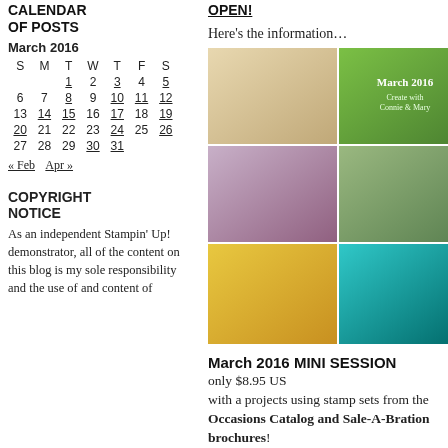OPEN!
CALENDAR OF POSTS
March 2016
| S | M | T | W | T | F | S |
| --- | --- | --- | --- | --- | --- | --- |
|  |  | 1 | 2 | 3 | 4 | 5 |
| 6 | 7 | 8 | 9 | 10 | 11 | 12 |
| 13 | 14 | 15 | 16 | 17 | 18 | 19 |
| 20 | 21 | 22 | 23 | 24 | 25 | 26 |
| 27 | 28 | 29 | 30 | 31 |  |  |
« Feb   Apr »
COPYRIGHT NOTICE
As an independent Stampin' Up! demonstrator, all of the content on this blog is my sole responsibility and the use of and content of
Here's the information…
[Figure (photo): 6-panel photo grid showing March 2016 stamping/crafting projects, including cards with floral and chevron designs]
March 2016 MINI SESSION
only $8.95 US
with a projects using stamp sets from the Occasions Catalog and Sale-A-Bration brochures!
[Figure (photo): Christmas Scotties card collection promotional image]
We all know that dogs are a person's best friend and Stampin' Up!'s new CHRISTMAS SCOTTIES BUNDLE is adorable and not just for Christmas! These festive Scottish Terrier pups are all ready to wish anyone some cheer any time of the year! In this CHRISTMAS SCOTTIES